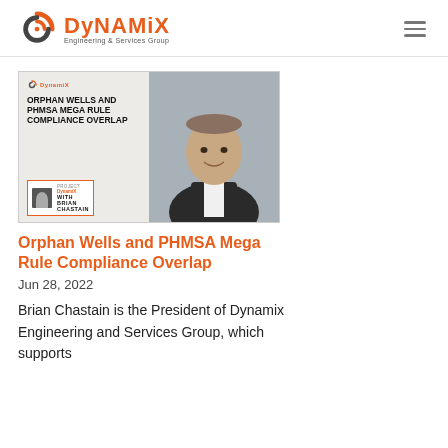[Figure (logo): Dynamix Engineering & Services Group logo with orange swirl icon and orange DYNAMIX text]
[Figure (photo): Podcast thumbnail image: Orphan Wells and PHMSA Mega Rule Compliance Overlap, with Brian Chastain. Shows text overlay on left and professional headshot on right.]
Orphan Wells and PHMSA Mega Rule Compliance Overlap
Jun 28, 2022
Brian Chastain is the President of Dynamix Engineering and Services Group, which supports